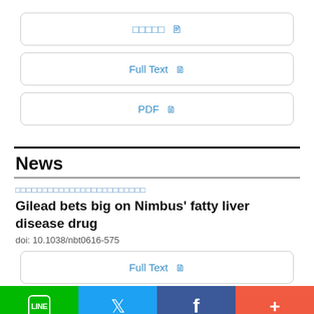□□□□□  ☐
Full Text  ☐
PDF  ☐
News
□□□□□□□□□□□□□□□□□□□□□□□□
Gilead bets big on Nimbus' fatty liver disease drug
doi: 10.1038/nbt0616-575
Full Text  ☐
LINE  Twitter  f  +